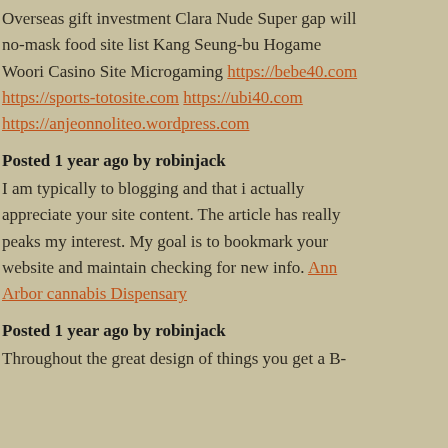Overseas gift investment Clara Nude Super gap will no-mask food site list Kang Seung-bu Hogame Woori Casino Site Microgaming https://bebe40.com https://sports-totosite.com https://ubi40.com https://anjeonnoliteo.wordpress.com
Posted 1 year ago by robinjack
I am typically to blogging and that i actually appreciate your site content. The article has really peaks my interest. My goal is to bookmark your website and maintain checking for new info. Ann Arbor cannabis Dispensary
Posted 1 year ago by robinjack
Throughout the great design of things you get a B-